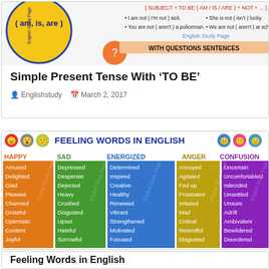[Figure (infographic): Banner showing Simple Present Tense with 'TO BE' grammar chart with negative sentences examples and question sentences header]
Simple Present Tense With ‘TO BE’
Englishstudy   March 2, 2017
[Figure (infographic): Feeling Words in English chart with emoji icons and five colored columns: HAPPY (orange), SAD (green), ENERGIZED (blue), ANGER (yellow), CONFUSION (purple), each listing 9-10 emotion words]
Feeling Words in English